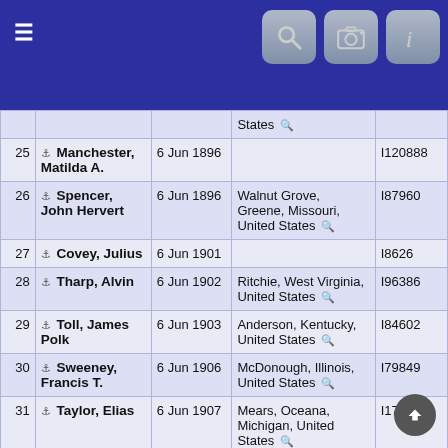Navigation header with search, camera, and info icons
| # | Name | Date | Place | ID |
| --- | --- | --- | --- | --- |
|  |  | States 🔍 |  |  |
| 25 | Manchester, Matilda A. | 6 Jun 1896 |  | I120888 |
| 26 | Spencer, John Hervert | 6 Jun 1896 | Walnut Grove, Greene, Missouri, United States 🔍 | I87960 |
| 27 | Covey, Julius | 6 Jun 1901 |  | I8626 |
| 28 | Tharp, Alvin | 6 Jun 1902 | Ritchie, West Virginia, United States 🔍 | I96386 |
| 29 | Toll, James Polk | 6 Jun 1903 | Anderson, Kentucky, United States 🔍 | I84602 |
| 30 | Sweeney, Francis T. | 6 Jun 1906 | McDonough, Illinois, United States 🔍 | I79849 |
| 31 | Taylor, Elias | 6 Jun 1907 | Mears, Oceana, Michigan, United States 🔍 | I1760 |
| 32 | Hiatt, William Henry | 6 Jun 1913 | Vesta, Franklin, Arkansas, United States 🔍 | I80152 |
| 33 | Galitzino, |  |  |  |